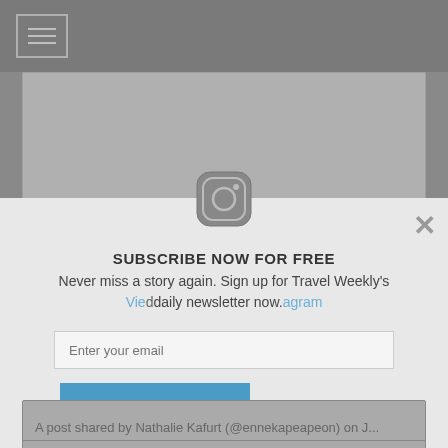[Figure (screenshot): Website screenshot showing a subscribe modal overlay on a travel news site. The modal contains an Instagram icon, headline 'SUBSCRIBE NOW FOR FREE', subtitle text, email input field, and a blue SUBSCRIBE NOW button. Background shows dark navigation bar with hamburger menu and grayed-out content.]
SUBSCRIBE NOW FOR FREE
Never miss a story again. Sign up for Travel Weekly's daily newsletter now.
And up they go on # uluru
A post shared by Nathalie Kafurt (@ennekapeapeon) on J...